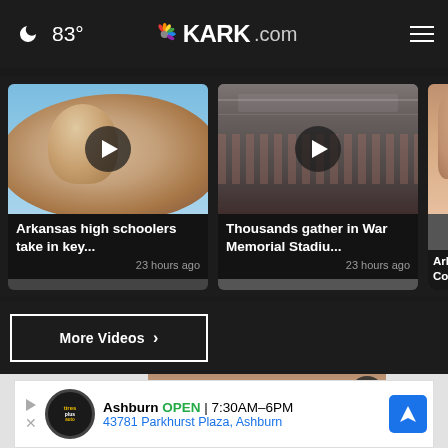83° KARK.com
[Figure (screenshot): Video thumbnail showing stone sculpture against blue sky]
Arkansas high schoolers take in key...
23 hours ago
[Figure (screenshot): Video thumbnail showing crowd at War Memorial Stadium]
Thousands gather in War Memorial Stadiu...
23 hours ago
[Figure (screenshot): Partial video thumbnail - Arkan Comm...]
More Videos ›
[Figure (photo): Close-up of a person's face/eyes]
[Figure (infographic): Advertisement: Ashburn OPEN 7:30AM-6PM, 43781 Parkhurst Plaza, Ashburn - Tires Plus Auto]